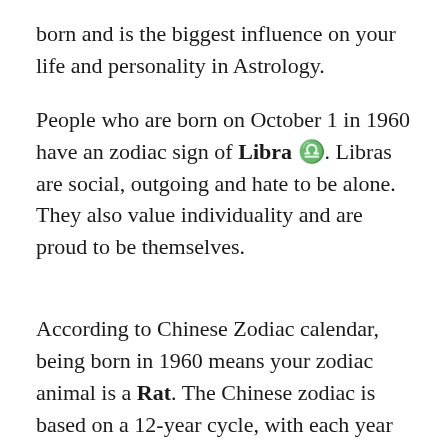born and is the biggest influence on your life and personality in Astrology.
People who are born on October 1 in 1960 have an zodiac sign of Libra ♎. Libras are social, outgoing and hate to be alone. They also value individuality and are proud to be themselves.
According to Chinese Zodiac calendar, being born in 1960 means your zodiac animal is a Rat. The Chinese zodiac is based on a 12-year cycle, with each year in a cycle related to an animal sign. A zodiac system has existed in Chinese